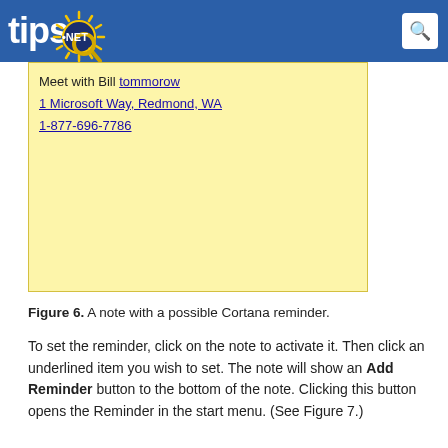tips.NET
[Figure (screenshot): A sticky note (yellow background) showing text: 'Meet with Bill tommorow', '1 Microsoft Way, Redmond, WA', '1-877-696-7786'. The latter two lines and 'tommorow' appear as hyperlinks (underlined blue text). This represents a Cortana reminder note in Windows.]
Figure 6. A note with a possible Cortana reminder.
To set the reminder, click on the note to activate it. Then click an underlined item you wish to set. The note will show an Add Reminder button to the bottom of the note. Clicking this button opens the Reminder in the start menu. (See Figure 7.)